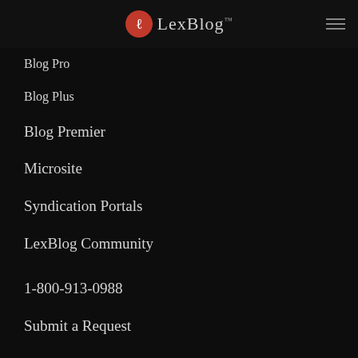LexBlog™
Blog Pro
Blog Plus
Blog Premier
Microsite
Syndication Portals
LexBlog Community
1-800-913-0988
Submit a Request
Support Center
System Status
Resource Center
New To The Network
Lights On